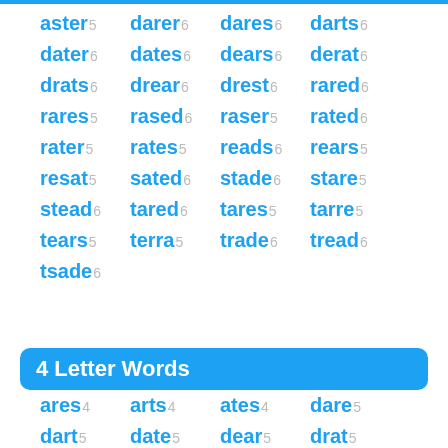aster5 darer6 dares6 darts6
dater6 dates6 dears6 derat6
drats6 drear6 drest6 rared6
rares5 rased6 raser5 rated6
rater5 rates5 reads6 rears5
resat5 sated6 stade6 stare5
stead6 tared6 tares5 tarre5
tears5 terra5 trade6 tread6
tsade6
4 Letter Words
ares4 arts4 ates4 dare5
dart5 date5 dear5 drat5